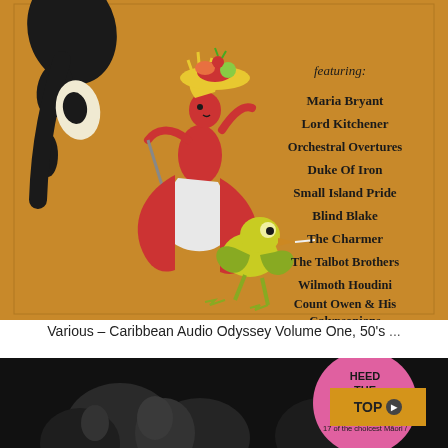[Figure (illustration): Album cover artwork for 'Caribbean Audio Odyssey Volume One, 50s'. Orange/amber background with stylized illustrations: a dancing woman in a red bikini holding a fruit basket on her head, a black abstract tree/figure on the left, and a yellow-green cartoon bird/frog creature at bottom. Right side lists featured artists: Maria Bryant, Lord Kitchener, Orchestral Overtures, Duke Of Iron, Small Island Pride, Blind Blake, The Charmer, The Talbot Brothers, Wilmoth Houdini, Count Owen & His Calypsonians. Text at top reads 'featuring:']
Various – Caribbean Audio Odyssey Volume One, 50's ...
[Figure (photo): Black and white photograph of people (faces partially visible, dark moody image). Overlaid on the right side is a pink circular badge/label with text 'HEED THE' and 'Wha... Nga Tamariki! 17 of the choicest Maori /'. An orange/amber rectangular 'TOP' button with a right-pointing arrow circle overlays the corner.]